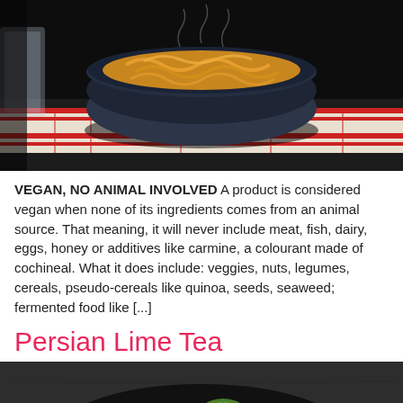[Figure (photo): A dark bowl filled with steaming noodles or pasta, placed on a striped red and white cloth/placemat on a dark table. Dark moody food photography style.]
VEGAN, NO ANIMAL INVOLVED A product is considered vegan when none of its ingredients comes from an animal source. That meaning, it will never include meat, fish, dairy, eggs, honey or additives like carmine, a colourant made of cochineal. What it does include: veggies, nuts, legumes, cereals, pseudo-cereals like quinoa, seeds, seaweed; fermented food like [...]
Persian Lime Tea
[Figure (photo): A dark cast iron or black bowl/pan viewed from above containing sliced lime halves and a whole lime, on a dark grey textured surface. Moody food photography.]